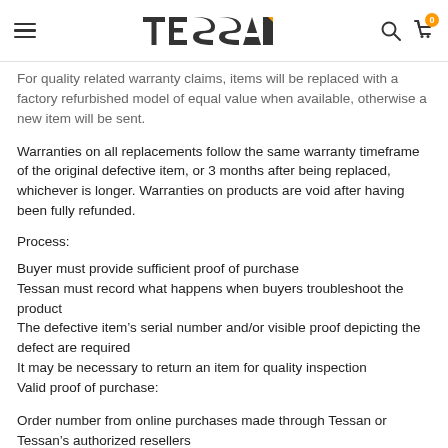TESSAN
For quality related warranty claims, items will be replaced with a factory refurbished model of equal value when available, otherwise a new item will be sent.
Warranties on all replacements follow the same warranty timeframe of the original defective item, or 3 months after being replaced, whichever is longer. Warranties on products are void after having been fully refunded.
Process:
Buyer must provide sufficient proof of purchase
Tessan must record what happens when buyers troubleshoot the product
The defective item’s serial number and/or visible proof depicting the defect are required
It may be necessary to return an item for quality inspection
Valid proof of purchase:
Order number from online purchases made through Tessan or Tessan’s authorized resellers
Sales invoice